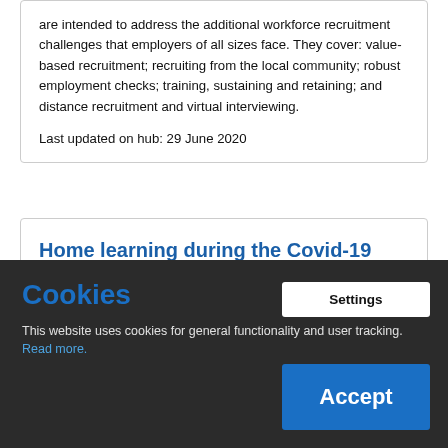are intended to address the additional workforce recruitment challenges that employers of all sizes face. They cover: value-based recruitment; recruiting from the local community; robust employment checks; training, sustaining and retaining; and distance recruitment and virtual interviewing.
Last updated on hub: 29 June 2020
Home learning during the Covid-19 lockdown: the impact of school closures on care experienced children
Cookies
This website uses cookies for general functionality and user tracking. Read more.